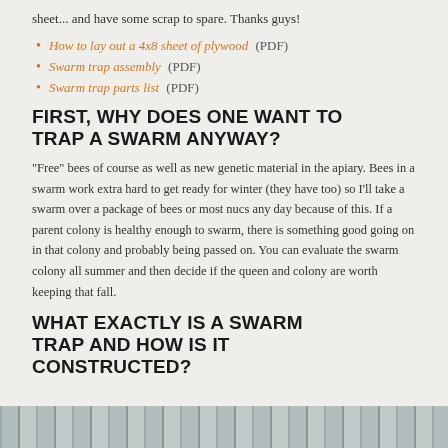sheet... and have some scrap to spare. Thanks guys!
How to lay out a 4x8 sheet of plywood (PDF)
Swarm trap assembly (PDF)
Swarm trap parts list (PDF)
FIRST, WHY DOES ONE WANT TO TRAP A SWARM ANYWAY?
“Free” bees of course as well as new genetic material in the apiary. Bees in a swarm work extra hard to get ready for winter (they have too) so I’ll take a swarm over a package of bees or most nucs any day because of this. If a parent colony is healthy enough to swarm, there is something good going on in that colony and probably being passed on. You can evaluate the swarm colony all summer and then decide if the queen and colony are worth keeping that fall.
WHAT EXACTLY IS A SWARM TRAP AND HOW IS IT CONSTRUCTED?
[Figure (photo): Bottom edge photo strip showing wooden planks or boards in grey tones]